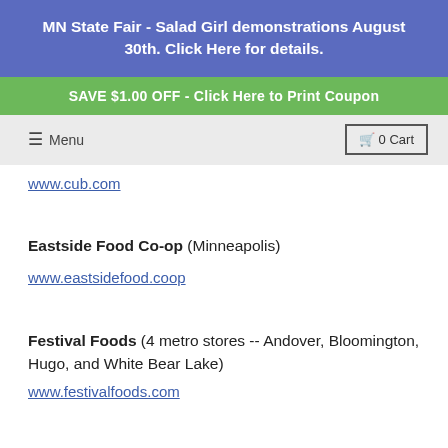MN State Fair - Salad Girl demonstrations August 30th. Click Here for details.
SAVE $1.00 OFF - Click Here to Print Coupon
Menu   0 Cart
www.cub.com
Eastside Food Co-op (Minneapolis)
www.eastsidefood.coop
Festival Foods (4 metro stores -- Andover, Bloomington, Hugo, and White Bear Lake)
www.festivalfoods.com